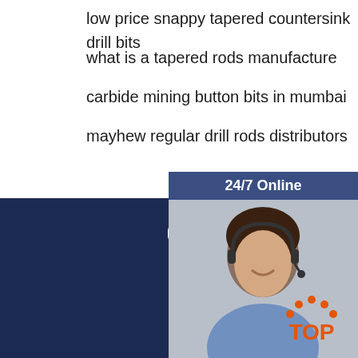low price snappy tapered countersink drill bits
what is a tapered rods manufacture
carbide mining button bits in mumbai
mayhew regular drill rods distributors
24/7 Online
[Figure (photo): Customer service representative woman wearing headset, smiling]
Click here for free chat !
QUOTATION
Tel(whatsapp):
+8615338923281
Fax
+8615338923281
Email
annie77007@gmail.com
[Figure (logo): TOP logo with orange dots forming arch above text]